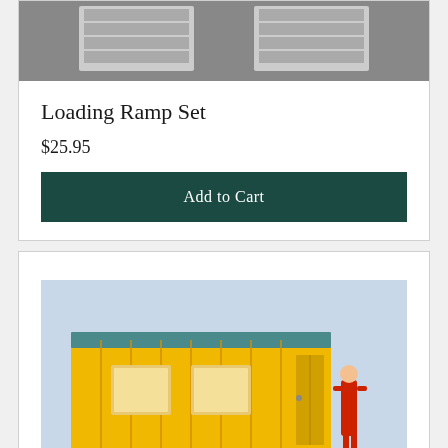[Figure (photo): Top portion of a loading ramp set product photo showing ramp pieces on a grey surface]
Loading Ramp Set
$25.95
Add to Cart
[Figure (photo): Yellow shipping container model with blue roof and two white windows, with a small red figure standing beside it, on a light blue background]